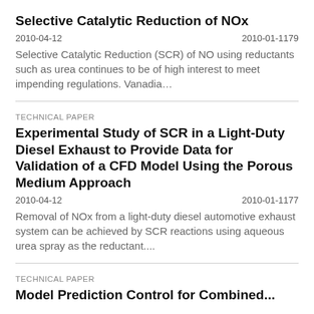Selective Catalytic Reduction of NOx
2010-04-12    2010-01-1179
Selective Catalytic Reduction (SCR) of NO using reductants such as urea continues to be of high interest to meet impending regulations. Vanadia…
TECHNICAL PAPER
Experimental Study of SCR in a Light-Duty Diesel Exhaust to Provide Data for Validation of a CFD Model Using the Porous Medium Approach
2010-04-12    2010-01-1177
Removal of NOx from a light-duty diesel automotive exhaust system can be achieved by SCR reactions using aqueous urea spray as the reductant....
TECHNICAL PAPER
Model Prediction Control for Combined...